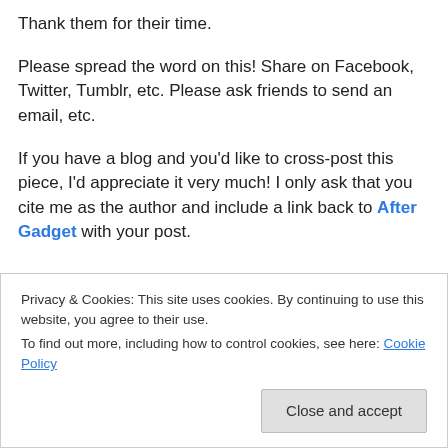Thank them for their time.
Please spread the word on this! Share on Facebook, Twitter, Tumblr, etc. Please ask friends to send an email, etc.
If you have a blog and you'd like to cross-post this piece, I'd appreciate it very much! I only ask that you cite me as the author and include a link back to After Gadget with your post.
Privacy & Cookies: This site uses cookies. By continuing to use this website, you agree to their use. To find out more, including how to control cookies, see here: Cookie Policy